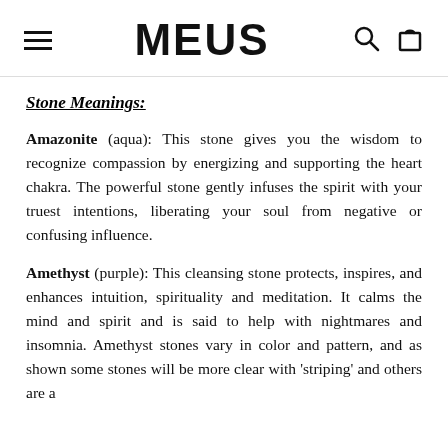MEUS
Stone Meanings:
Amazonite (aqua): This stone gives you the wisdom to recognize compassion by energizing and supporting the heart chakra. The powerful stone gently infuses the spirit with your truest intentions, liberating your soul from negative or confusing influence.
Amethyst (purple): This cleansing stone protects, inspires, and enhances intuition, spirituality and meditation. It calms the mind and spirit and is said to help with nightmares and insomnia. Amethyst stones vary in color and pattern, and as shown some stones will be more clear with 'striping' and others are a